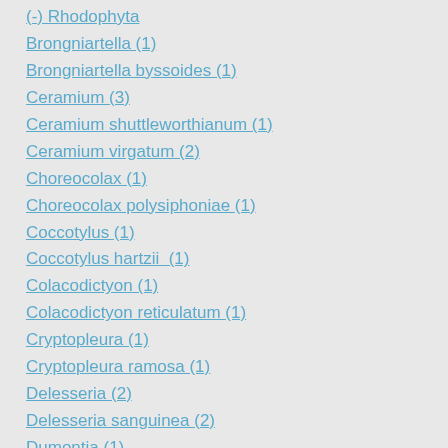(-) Rhodophyta
Brongniartella (1)
Brongniartella byssoides (1)
Ceramium (3)
Ceramium shuttleworthianum (1)
Ceramium virgatum (2)
Choreocolax (1)
Choreocolax polysiphoniae (1)
Coccotylus (1)
Coccotylus hartzii  (1)
Colacodictyon (1)
Colacodictyon reticulatum (1)
Cryptopleura (1)
Cryptopleura ramosa (1)
Delesseria (2)
Delesseria sanguinea (2)
Dumontia (1)
Dumontia incrassata (1)
Gelidium (2)
Gelidium pusillum (2)